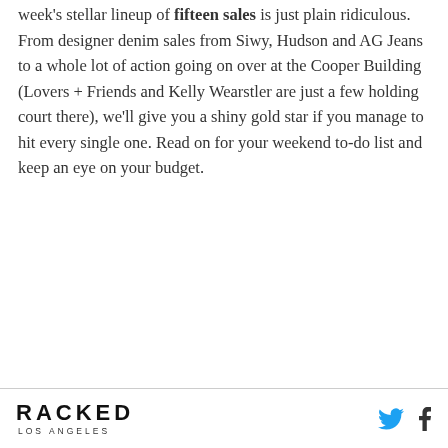week's stellar lineup of fifteen sales is just plain ridiculous. From designer denim sales from Siwy, Hudson and AG Jeans to a whole lot of action going on over at the Cooper Building (Lovers + Friends and Kelly Wearstler are just a few holding court there), we'll give you a shiny gold star if you manage to hit every single one. Read on for your weekend to-do list and keep an eye on your budget.
RACKED LOS ANGELES